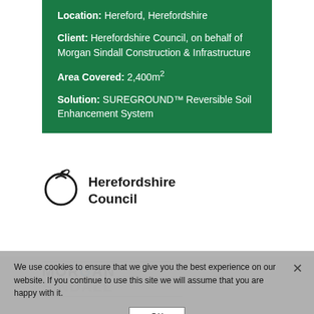Location: Hereford, Herefordshire
Client: Herefordshire Council, on behalf of Morgan Sindall Construction & Infrastructure
Area Covered: 2,400m²
Solution: SUREGROUND™ Reversible Soil Enhancement System
[Figure (logo): Herefordshire Council logo with stylized apple icon and bold text]
[Figure (logo): Morgan Sindall logo in bold black and grey text with horizontal lines]
We use cookies to ensure that we give you the best experience on our website. If you continue to use this site we will assume that you are happy with it.